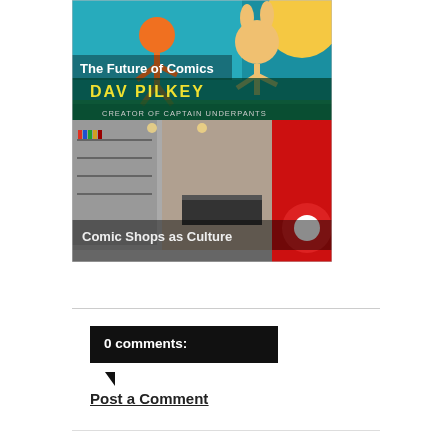[Figure (illustration): Composite image block: top half shows a colorful illustrated comic-style image with cartoon characters (a stick figure and a rabbit-like creature) on a blue/teal/yellow background with text 'The Future of Comics' and 'Dav Pilkey Creator of Captain Underpants'. Bottom half shows a photograph of a comic book shop interior with red and white decor, shelves of comics, and text overlay 'Comic Shops as Culture'.]
0 comments:
Post a Comment